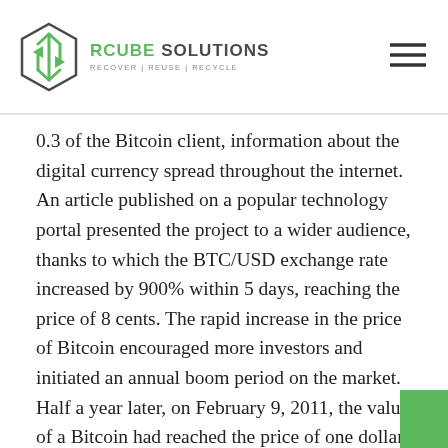RCube Solutions — RECOVER | REUSE | RECYCLE
0.3 of the Bitcoin client, information about the digital currency spread throughout the internet. An article published on a popular technology portal presented the project to a wider audience, thanks to which the BTC/USD exchange rate increased by 900% within 5 days, reaching the price of 8 cents. The rapid increase in the price of Bitcoin encouraged more investors and initiated an annual boom period on the market. Half a year later, on February 9, 2011, the value of a Bitcoin had reached the price of one dollar. The CoinDesk Bitcoin Price Index is the world's leading reference for the price of bitcoin, used by the largest institutions active in crypto assets.